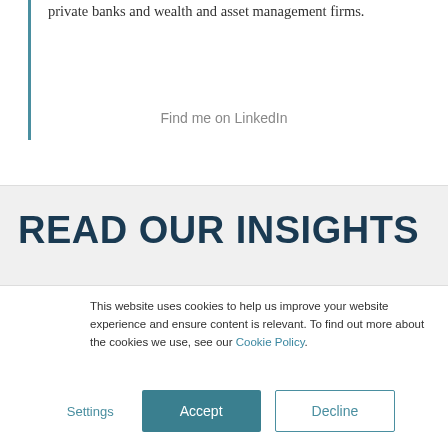private banks and wealth and asset management firms.
Find me on LinkedIn
READ OUR INSIGHTS
This website uses cookies to help us improve your website experience and ensure content is relevant. To find out more about the cookies we use, see our Cookie Policy.
Settings  Accept  Decline